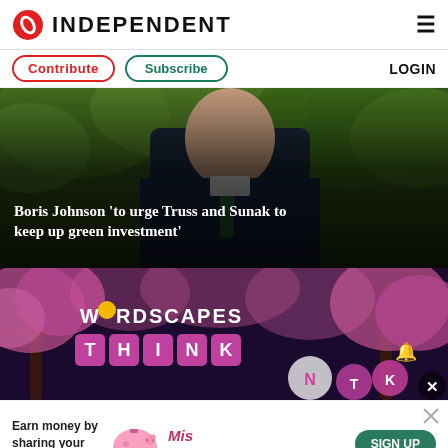INDEPENDENT
Contribute | Subscribe | LOGIN
[Figure (photo): Boris Johnson in a suit with green tie walking outdoors among green foliage]
Boris Johnson 'to urge Truss and Sunak to keep up green investment'
[Figure (other): Wordscapes mobile game advertisement banner with cherry blossom background, showing THINK tiles and game logo]
[Figure (other): Bottom advertisement banner: Earn money by sharing your opinions - Miss Rewards SIGN UP]